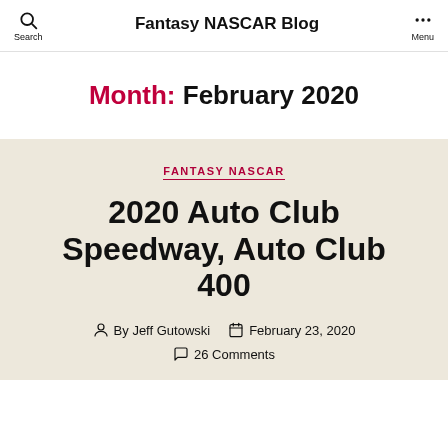Fantasy NASCAR Blog
Month: February 2020
FANTASY NASCAR
2020 Auto Club Speedway, Auto Club 400
By Jeff Gutowski   February 23, 2020   26 Comments